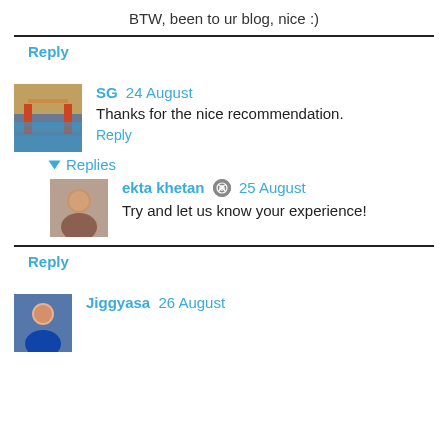BTW, been to ur blog, nice :)
Reply
SG 24 August
Thanks for the nice recommendation.
Reply
Replies
ekta khetan 25 August
Try and let us know your experience!
Reply
Jiggyasa 26 August